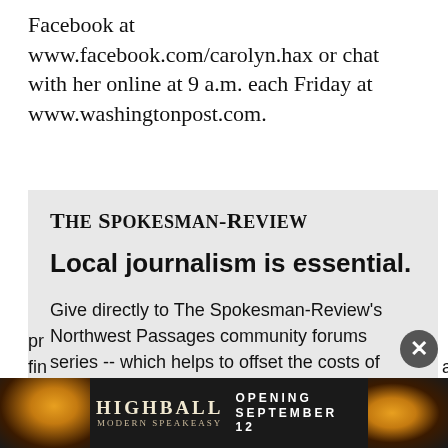Facebook at www.facebook.com/carolyn.hax or chat with her online at 9 a.m. each Friday at www.washingtonpost.com.
The Spokesman-Review
Local journalism is essential.
Give directly to The Spokesman-Review's Northwest Passages community forums series -- which helps to offset the costs of several reporter and editor positions at the newspaper -- by using the easy options below. Gifts processed in this system are not tax deductible, but are pr... fin... al
[Figure (advertisement): Highball Modern Speakeasy advertisement bar: dark background with cocktail imagery, text reads HIGHBALL MODERN SPEAKEASY OPENING SEPTEMBER 12]